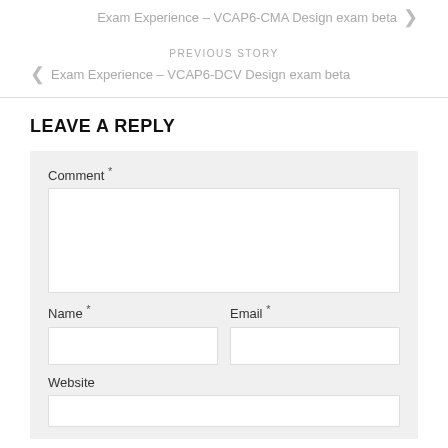Exam Experience – VCAP6-CMA Design exam beta
PREVIOUS STORY
Exam Experience – VCAP6-DCV Design exam beta
LEAVE A REPLY
Comment *
Name *
Email *
Website